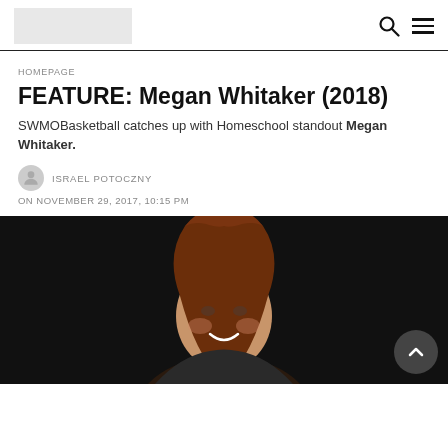[Logo placeholder] [Search icon] [Menu icon]
HOMEPAGE
FEATURE: Megan Whitaker (2018)
SWMOBasketball catches up with Homeschool standout Megan Whitaker.
ISRAEL POTOCZNY
ON NOVEMBER 29, 2017, 10:15 PM
[Figure (photo): Portrait photo of Megan Whitaker, a young woman with long auburn wavy hair, smiling, against a dark background]